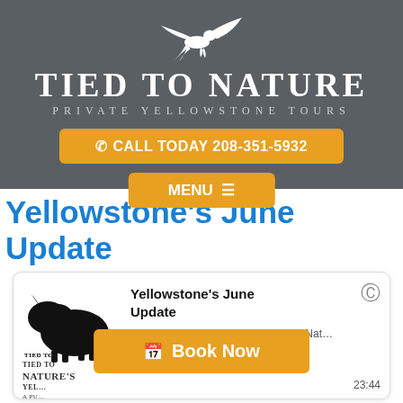[Figure (logo): Tied To Nature Private Yellowstone Tours logo with white eagle/bird and text on dark gray background]
📞 CALL TODAY 208-351-5932
MENU ☰
Yellowstone's June Update
[Figure (screenshot): Podcast player card showing Tied To Nature bison logo, title 'Yellowstone's June Update', Episode 15 • 1st July 2021 • Tied To Nat…, with CC icon and duration 23:44]
Yellowstone's June Update
Episode 15 • 1st July 2021 • Tied To Nat…
📅 Book Now